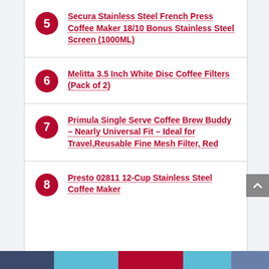5 Secura Stainless Steel French Press Coffee Maker 18/10 Bonus Stainless Steel Screen (1000ML)
6 Melitta 3.5 Inch White Disc Coffee Filters (Pack of 2)
7 Primula Single Serve Coffee Brew Buddy – Nearly Universal Fit – Ideal for Travel,Reusable Fine Mesh Filter, Red
8 Presto 02811 12-Cup Stainless Steel Coffee Maker